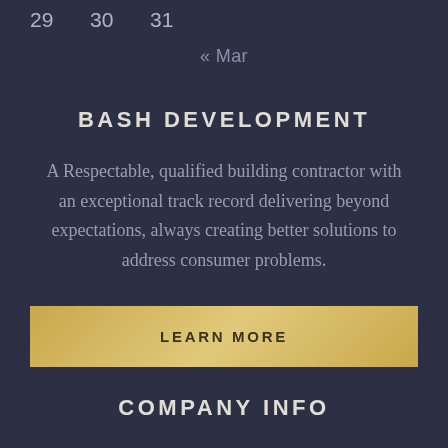| 29 | 30 | 31 |  |  |  |  |
« Mar
BASH DEVELOPMENT
A Respectable, qualified building contractor with an exceptional track record delivering beyond expectations, always creating better solutions to address consumer problems.
LEARN MORE
COMPANY INFO